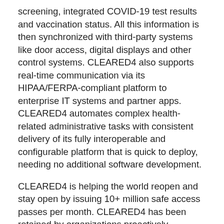screening, integrated COVID-19 test results and vaccination status. All this information is then synchronized with third-party systems like door access, digital displays and other control systems. CLEARED4 also supports real-time communication via its HIPAA/FERPA-compliant platform to enterprise IT systems and partner apps. CLEARED4 automates complex health-related administrative tasks with consistent delivery of its fully interoperable and configurable platform that is quick to deploy, needing no additional software development.
CLEARED4 is helping the world reopen and stay open by issuing 10+ million safe access passes per month. CLEARED4 has been retained by organizations proactively protecting their workforce, students, visitors and fans. A partial list of CLEARED4 clients in the U.S. include corporations like Netflix, T-Mobile, Aflac, Sun Chemical, law firms, hedge funds, retail shops, venues such as Madison Square Garden, Yankee Stadium, SoFI Stadium, AT&T Stadium, and educational institutions such as CUNY, El Camino